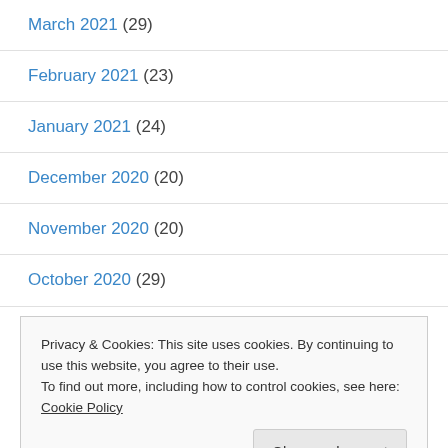March 2021 (29)
February 2021 (23)
January 2021 (24)
December 2020 (20)
November 2020 (20)
October 2020 (29)
September 2020 (20)
Privacy & Cookies: This site uses cookies. By continuing to use this website, you agree to their use.
To find out more, including how to control cookies, see here: Cookie Policy
Close and accept